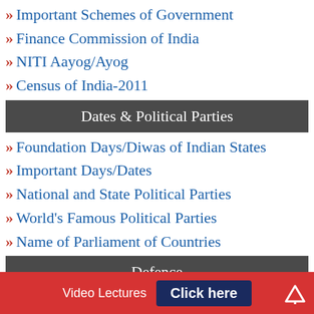Important Schemes of Government
Finance Commission of India
NITI Aayog/Ayog
Census of India-2011
Dates & Political Parties
Foundation Days/Diwas of Indian States
Important Days/Dates
National and State Political Parties
World's Famous Political Parties
Name of Parliament of Countries
Defence
Indian Armed Forces
Comparative Ranks in Army, Navy & Air-Force
Video Lectures  Click here